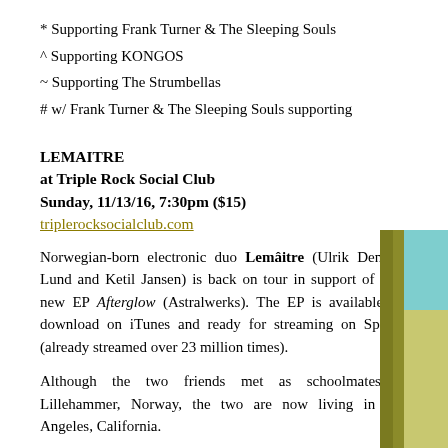* Supporting Frank Turner & The Sleeping Souls
^ Supporting KONGOS
~ Supporting The Strumbellas
# w/ Frank Turner & The Sleeping Souls supporting
LEMAITRE
at Triple Rock Social Club
Sunday, 11/13/16, 7:30pm ($15)
triplerocksocialclub.com
Norwegian-born electronic duo Lemâitre (Ulrik Denizou Lund and Ketil Jansen) is back on tour in support of their new EP Afterglow (Astralwerks). The EP is available for download on iTunes and ready for streaming on Spotify (already streamed over 23 million times).
Although the two friends met as schoolmates in Lillehammer, Norway, the two are now living in Los Angeles, California.
You may have heard one of their song ('1:18') on Apple's advertisement for the iPhone 5c and iOS7. In March 2016,[28] it was announced that Lemaitre, along with other musical acts AlunaGeorge and Broiler, were
Chet Porter and Coucheron to open.
Lemaitre - Fall 2016 North American Tour
[Figure (illustration): Decorative right-side panel with olive/green and teal color blocks]